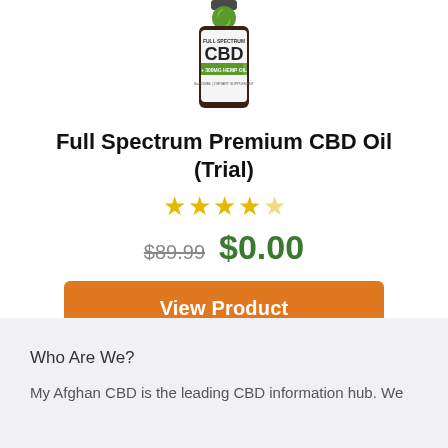[Figure (photo): Product photo of a CBD oil bottle labeled 'Full Spectrum CBD + 300mg Hemp Oil, Dietary Supplement']
Full Spectrum Premium CBD Oil (Trial)
[Figure (other): 4.5 star rating displayed as yellow stars]
$89.99  $0.00
View Product
Who Are We?
My Afghan CBD is the leading CBD information hub. We